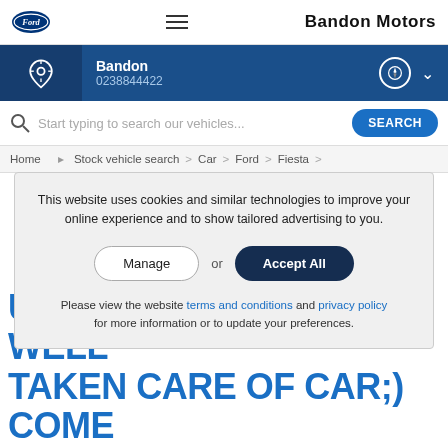Bandon Motors
Bandon
0238844422
Start typing to search our vehicles...
Home > Stock vehicle search > Car > Ford > Fiesta >
This website uses cookies and similar technologies to improve your online experience and to show tailored advertising to you.
Manage or Accept All
Please view the website terms and conditions and privacy policy for more information or to update your preferences.
UNREAL IN WHITE. A WELL TAKEN CARE OF CAR;) COME